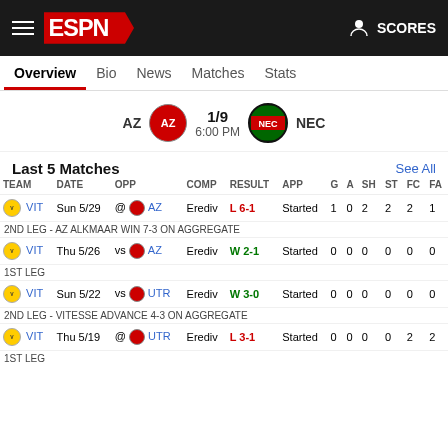ESPN — SCORES
Overview  Bio  News  Matches  Stats
AZ  1/9  6:00 PM  NEC
Last 5 Matches
| TEAM | DATE | OPP | COMP | RESULT | APP | G | A | SH | ST | FC | FA |
| --- | --- | --- | --- | --- | --- | --- | --- | --- | --- | --- | --- |
| VIT | Sun 5/29 | @ AZ | Erediv | L 6-1 | Started | 1 | 0 | 2 | 2 | 2 | 1 |
| 2ND LEG - AZ ALKMAAR WIN 7-3 ON AGGREGATE |  |  |  |  |  |  |  |  |  |  |  |
| VIT | Thu 5/26 | vs AZ | Erediv | W 2-1 | Started | 0 | 0 | 0 | 0 | 0 | 0 |
| 1ST LEG |  |  |  |  |  |  |  |  |  |  |  |
| VIT | Sun 5/22 | vs UTR | Erediv | W 3-0 | Started | 0 | 0 | 0 | 0 | 0 | 0 |
| 2ND LEG - VITESSE ADVANCE 4-3 ON AGGREGATE |  |  |  |  |  |  |  |  |  |  |  |
| VIT | Thu 5/19 | @ UTR | Erediv | L 3-1 | Started | 0 | 0 | 0 | 0 | 2 | 2 |
| 1ST LEG |  |  |  |  |  |  |  |  |  |  |  |